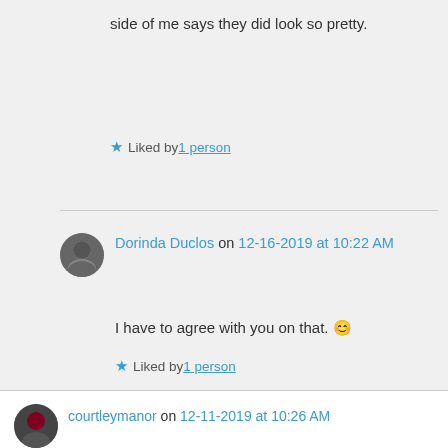side of me says they did look so pretty.
Liked by 1 person
Dorinda Duclos on 12-16-2019 at 10:22 AM
I have to agree with you on that. 😊
Liked by 1 person
courtleymanor on 12-11-2019 at 10:26 AM
cool i pass through ringwood all the time and i didn't even know about this. thanks for sharing!